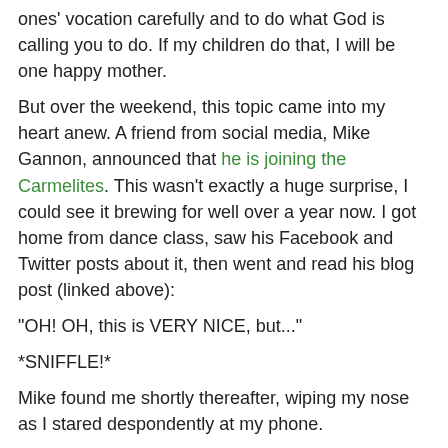ones' vocation carefully and to do what God is calling you to do. If my children do that, I will be one happy mother.
But over the weekend, this topic came into my heart anew. A friend from social media, Mike Gannon, announced that he is joining the Carmelites. This wasn't exactly a huge surprise, I could see it brewing for well over a year now. I got home from dance class, saw his Facebook and Twitter posts about it, then went and read his blog post (linked above):
"OH! OH, this is VERY NICE, but..."
*SNIFFLE!*
Mike found me shortly thereafter, wiping my nose as I stared despondently at my phone.
"What's wrong?"
"Mike Gannon is going to become a Carmelite friar. It's GOOD! It's just...I will miss him so much on Twitter!!!"
Because you see, the religious vocations of others are all...